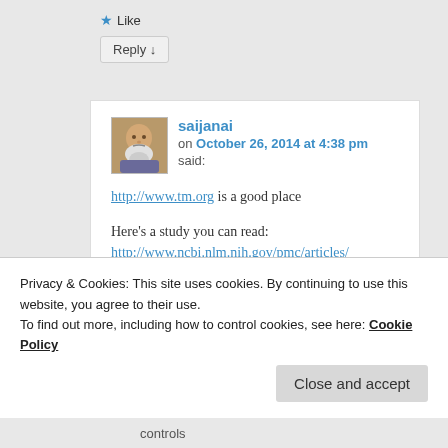★ Like
Reply ↓
saijanai on October 26, 2014 at 4:38 pm said:
http://www.tm.org is a good place

Here's a study you can read:
http://www.ncbi.nlm.nih.gov/pmc/articles/PMC3951026/
Privacy & Cookies: This site uses cookies. By continuing to use this website, you agree to their use.
To find out more, including how to control cookies, see here: Cookie Policy
Close and accept
controls